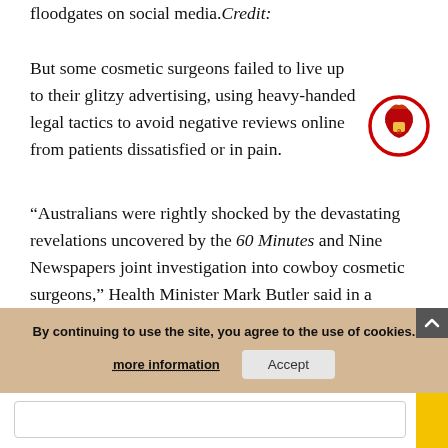floodgates on social media. Credit:
But some cosmetic surgeons failed to live up to their glitzy advertising, using heavy-handed legal tactics to avoid negative reviews online from patients dissatisfied or in pain.
[Figure (logo): Circular red-bordered logo with golden/red warrior helmet icon and letter 'a']
“Australians were rightly shocked by the devastating revelations uncovered by the 60 Minutes and Nine Newspapers joint investigation into cowboy cosmetic surgeons,” Health Minister Mark Butler said in a statement. “Australians seeking these treatments should not be misled by medical practitioners, non-specialist surgeons or those without appropriate surgical training.”
By continuing to use the site, you agree to the use of cookies.
more information
Accept